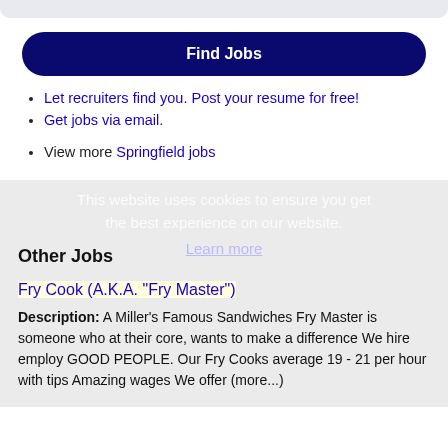Find Jobs
Let recruiters find you. Post your resume for free!
Get jobs via email.
View more Springfield jobs
Other Jobs
This website uses cookies to ensure you get the best experience on our website. Learn more
Fry Cook (A.K.A. "Fry Master")
Description: A Miller's Famous Sandwiches Fry Master is someone who at their core, wants to make a difference We hire employ GOOD PEOPLE. Our Fry Cooks average 19 - 21 per hour with tips Amazing wages We offer (more...)